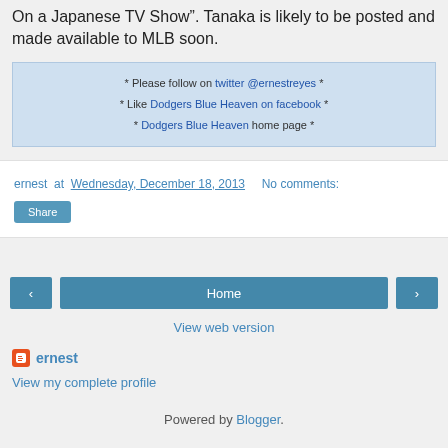On a Japanese TV Show". Tanaka is likely to be posted and made available to MLB soon.
* Please follow on twitter @ernestreyes *
* Like Dodgers Blue Heaven on facebook *
* Dodgers Blue Heaven home page *
ernest at Wednesday, December 18, 2013   No comments:
Share
< Home >
View web version
ernest
View my complete profile
Powered by Blogger.